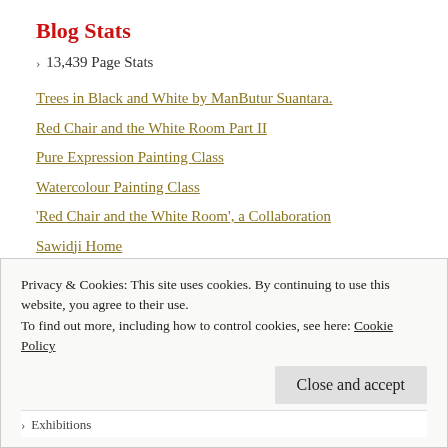Blog Stats
13,439 Page Stats
Trees in Black and White by ManButur Suantara.
Red Chair and the White Room Part II
Pure Expression Painting Class
Watercolour Painting Class
'Red Chair and the White Room', a Collaboration
Sawidji Home
Ratu Gede Mas Mecaling, Krisna and Komokwa the Undersea God
Privacy & Cookies: This site uses cookies. By continuing to use this website, you agree to their use.
To find out more, including how to control cookies, see here: Cookie Policy
Close and accept
Exhibitions